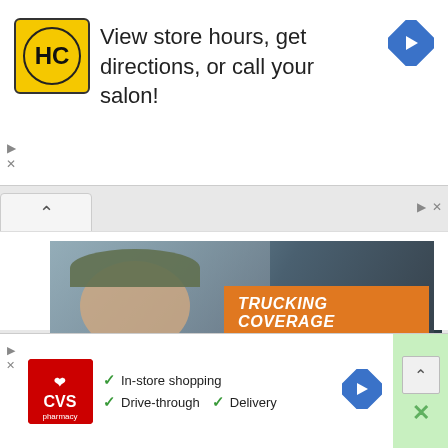[Figure (screenshot): Top advertisement banner with HC (Hair Cuttery) logo and text 'View store hours, get directions, or call your salon!' with navigation arrow icon]
View store hours, get directions, or call your salon!
[Figure (photo): Trucking insurance advertisement showing a smiling woman truck driver at the wheel with orange overlay text 'TRUCKING COVERAGE YOU CAN COUNT ON...']
TRUCKING COVERAGE
YOU CAN COUNT ON...
Compare Insurance Quotes
Ad  Quantum Assurance
Get Quote
[Figure (screenshot): Bottom CVS Pharmacy advertisement with logo and checkmarks for In-store shopping, Drive-through, and Delivery]